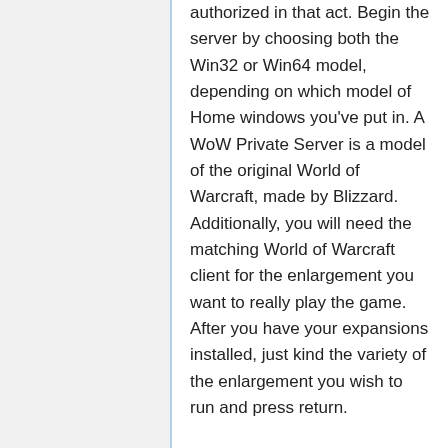authorized in that act. Begin the server by choosing both the Win32 or Win64 model, depending on which model of Home windows you've put in. A WoW Private Server is a model of the original World of Warcraft, made by Blizzard. Additionally, you will need the matching World of Warcraft client for the enlargement you want to really play the game. After you have your expansions installed, just kind the variety of the enlargement you wish to run and press return.
There are several single participant initiatives for different expansions. Typically the older expansions work higher, whereas the newer ones may have lacking content, scripting bugs or